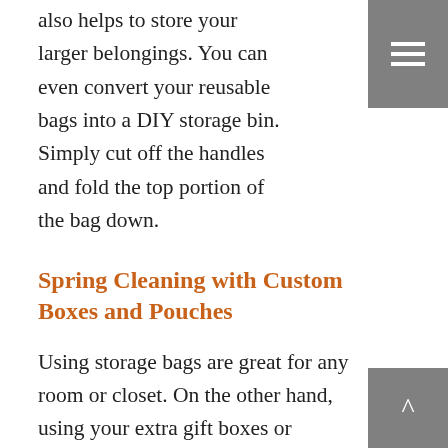also helps to store your larger belongings. You can even convert your reusable bags into a DIY storage bin. Simply cut off the handles and fold the top portion of the bag down.
Spring Cleaning with Custom Boxes and Pouches
Using storage bags are great for any room or closet. On the other hand, using your extra gift boxes or pouches for storing smaller items  or accessories are equally as great. Consider using your pouches to safely house your jewelry and cosmetics. Boxes are equally as great to use for smaller accessories as well as fragile jewelry. Gift boxes and pouches range in size to fit perfectly in drawers, closets, desks or cabinets. As a bonus, you can even use them as a holder when traveling while giving your belongings a safe, dry and trendy home.